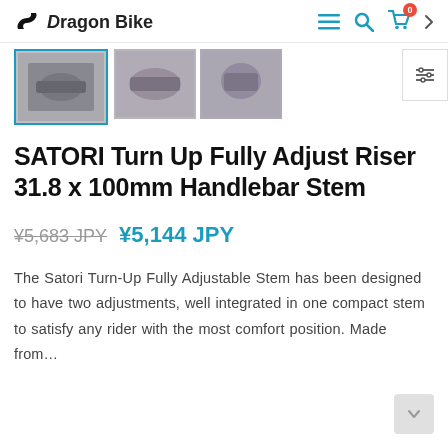Dragon Bike
[Figure (photo): Product thumbnails of SATORI handlebar stem from multiple angles. First thumbnail (selected, blue border) shows the stem from front. Two smaller thumbnails show other angles.]
SATORI Turn Up Fully Adjust Riser 31.8 x 100mm Handlebar Stem
¥5,683 JPY  ¥5,144 JPY
The Satori Turn-Up Fully Adjustable Stem has been designed to have two adjustments, well integrated in one compact stem to satisfy any rider with the most comfort position. Made from...